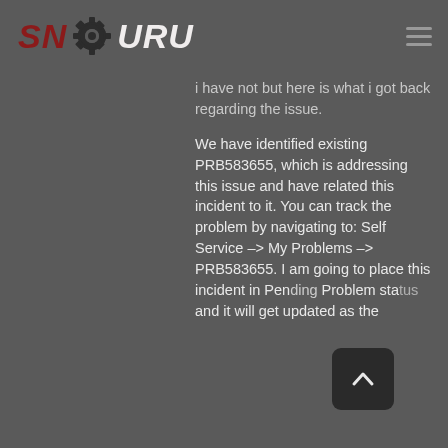SNGURU
i have not but here is what i got back regarding the issue.
We have identified existing PRB583655, which is addressing this issue and have related this incident to it. You can track the problem by navigating to: Self Service –> My Problems –> PRB583655. I am going to place this incident in Pending Problem status and it will get updated as the